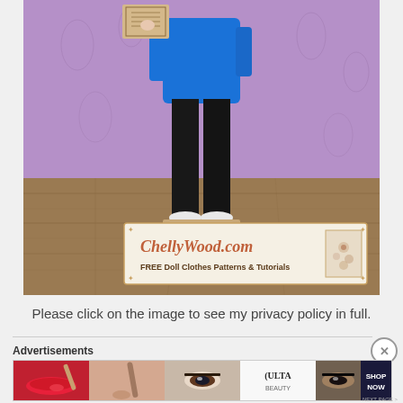[Figure (photo): A Barbie doll dressed in a blue top and black pants, standing against a purple floral wallpaper background on a wood floor, holding a clipboard. A ChellyWood.com watermark banner reads 'FREE Doll Clothes Patterns & Tutorials' overlaid at the bottom of the photo.]
Please click on the image to see my privacy policy in full.
Advertisements
[Figure (photo): An Ulta Beauty advertisement banner showing close-up images of makeup (red lips with brush, eye makeup, eyes), the Ulta Beauty logo, and a 'SHOP NOW' call to action.]